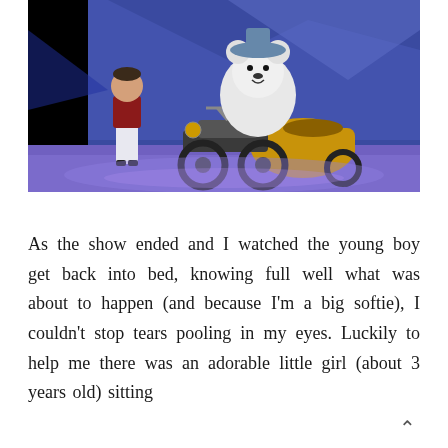[Figure (photo): A theatre stage scene showing a young boy in a red jacket and white pyjama trousers standing next to a large white fluffy bear character on a motorcycle with sidecar, against a blue-purple illustrated winter backdrop.]
As the show ended and I watched the young boy get back into bed, knowing full well what was about to happen (and because I'm a big softie), I couldn't stop tears pooling in my eyes. Luckily to help me there was an adorable little girl (about 3 years old) sitting